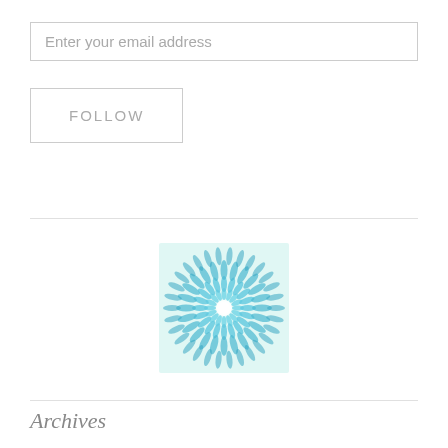Enter your email address
FOLLOW
[Figure (illustration): A decorative mandala/flower pattern made of blue and teal petal shapes radiating from a white center, on a light aqua background square.]
Archives